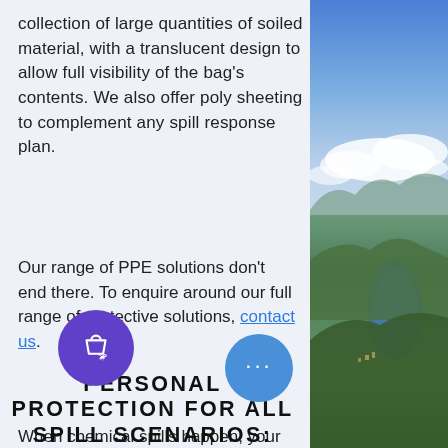collection of large quantities of soiled material, with a translucent design to allow full visibility of the bag's contents. We also offer poly sheeting to complement any spill response plan.
Our range of PPE solutions don't end there. To enquire around our full range of protective solutions, contact us.
PERSONAL PROTECTION FOR ALL SPILL SCENARIOS: YOU CAN COUNT ON ECOSOLUTIONS
When chemical spills happen, your
[Figure (photo): Aerial photograph of a scenic lake and valley with green hills and blue sky with clouds]
[Figure (other): Purple circular shopping bag icon button (floating UI element)]
[Figure (other): Blue circular button with three dots (floating UI element)]